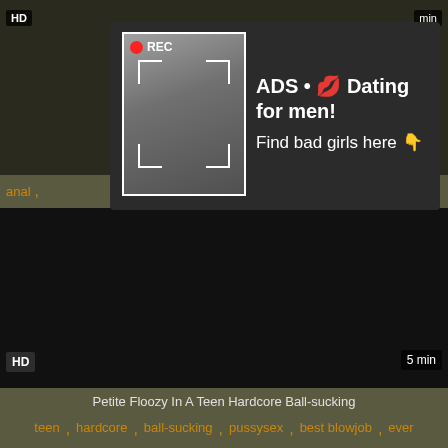[Figure (screenshot): Top video thumbnail, dark background, HD badge top-left, duration badge top-right]
[Figure (photo): Ad overlay with photo of woman taking selfie in mirror, camera recording frame, REC label, dark background panel with text]
ADS • 💋 Dating for men! Find bad girls here 👇
anal, ... ir, f...
[Figure (screenshot): Bottom video thumbnail, all black, HD badge bottom-left, 5 min badge bottom-right]
Petite Floozy In A Teen Hardcore Ball-sucking
teen, hardcore, ball-sucking, pussysex, best blowjob, ever